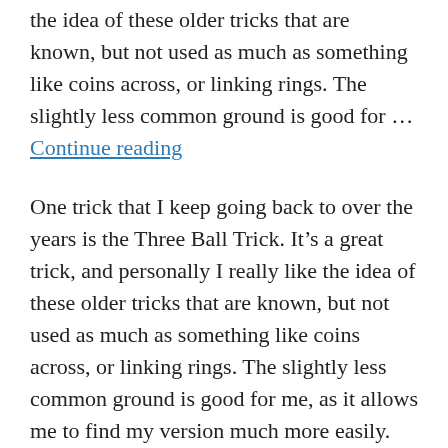the idea of these older tricks that are known, but not used as much as something like coins across, or linking rings. The slightly less common ground is good for … Continue reading
One trick that I keep going back to over the years is the Three Ball Trick. It's a great trick, and personally I really like the idea of these older tricks that are known, but not used as much as something like coins across, or linking rings. The slightly less common ground is good for me, as it allows me to find my version much more easily.